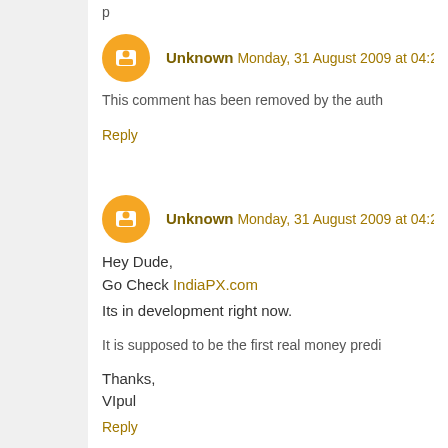[truncated text at top]
Unknown Monday, 31 August 2009 at 04:22:
This comment has been removed by the auth
Reply
Unknown Monday, 31 August 2009 at 04:26:
Hey Dude,
Go Check IndiaPX.com

Its in development right now.

It is supposed to be the first real money predi

Thanks,
VIpul
Reply